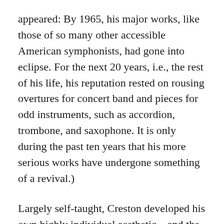appeared: By 1965, his major works, like those of so many other accessible American symphonists, had gone into eclipse. For the next 20 years, i.e., the rest of his life, his reputation rested on rousing overtures for concert band and pieces for odd instruments, such as accordion, trombone, and saxophone. It is only during the past ten years that his more serious works have undergone something of a revival.)
Largely self-taught, Creston developed his own highly individual aesthetic—and the unique and unmistakable “sound” that was its outgrowth—within a few years of his Opus 1, and he deviated very little from this approach throughout his career. Considered in its entirety, Creston’s musical output